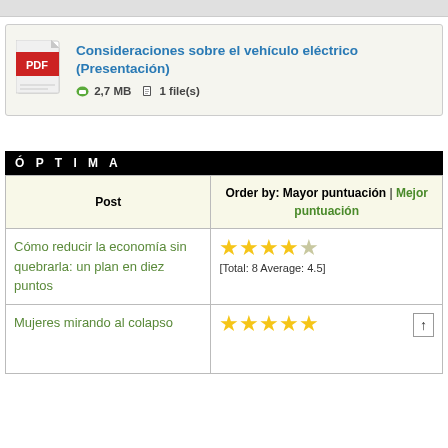[Figure (screenshot): Gray top bar from a web page]
[Figure (screenshot): Document card showing a PDF icon and link: Consideraciones sobre el vehículo eléctrico (Presentación), 2,7 MB, 1 file(s)]
Ó P T I M A
| Post | Order by: Mayor puntuación | Mejor puntuación |
| --- | --- |
| Cómo reducir la economía sin quebrarla: un plan en diez puntos | ★★★★★ [Total: 8 Average: 4.5] |
| Mujeres mirando al colapso | ★★★★★ [scroll button] |